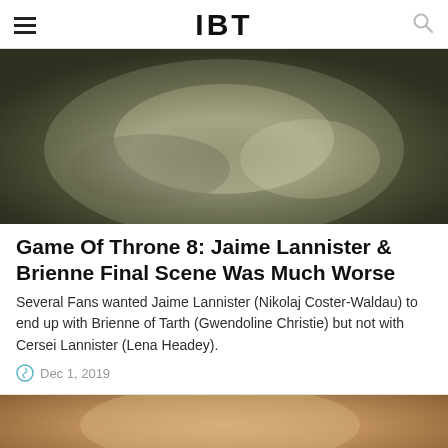IBT
[Figure (photo): Dark blurred scene from Game of Thrones, muted olive and grey tones]
Game Of Throne 8: Jaime Lannister & Brienne Final Scene Was Much Worse
Several Fans wanted Jaime Lannister (Nikolaj Coster-Waldau) to end up with Brienne of Tarth (Gwendoline Christie) but not with Cersei Lannister (Lena Headey).
Dec 1, 2019
[Figure (photo): Blurred brownish/tan photo, bottom of page, partially visible]